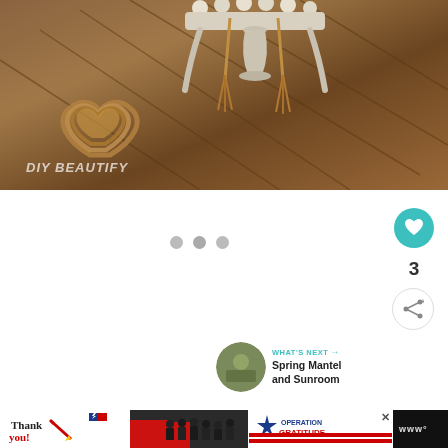[Figure (photo): DIY Beautify lifestyle photo showing a woven rope heart and a distressed white decorative tray with beads and tassels on a herringbone wood floor. Text 'DIY BEAUTIFY' overlaid in bottom left.]
[Figure (screenshot): Webpage UI showing three pagination dots, a teal heart/like button, a count of 3, a share button, and a 'WHAT'S NEXT' panel showing 'Spring Mantel and Sunroom' with a circular thumbnail.]
[Figure (photo): Advertisement banner at bottom: 'Thank you!' text with star and pencil illustration on left, firefighters group photo in middle, Operation Gratitude logo on right with a close X button. WM logo on far right.]